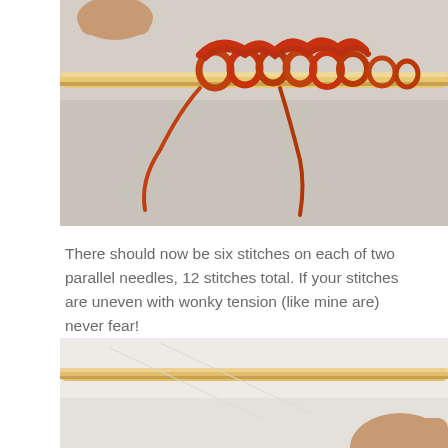[Figure (photo): Close-up photo of orange/rust yarn cast onto two parallel wooden knitting needles, held by a hand. The stitches are looped around the needle showing the cast-on technique.]
There should now be six stitches on each of two parallel needles, 12 stitches total. If your stitches are uneven with wonky tension (like mine are) never fear!
[Figure (photo): Partial photo showing the beginning of another knitting step, with a wooden needle and a hand visible at the bottom right corner against a light background.]